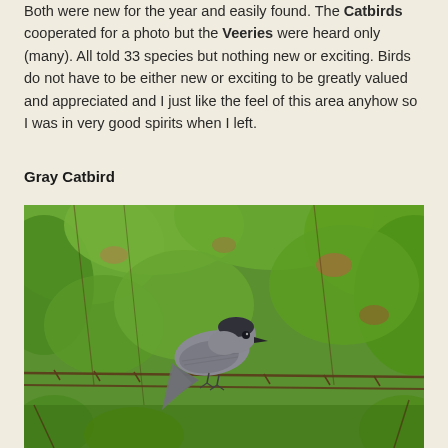Both were new for the year and easily found. The Catbirds cooperated for a photo but the Veeries were heard only (many). All told 33 species but nothing new or exciting. Birds do not have to be either new or exciting to be greatly valued and appreciated and I just like the feel of this area anyhow so I was in very good spirits when I left.
Gray Catbird
[Figure (photo): A Gray Catbird perched on a barbed wire fence surrounded by green leafy shrubs and trees. The bird is gray with a dark cap, facing left, with its long tail visible.]